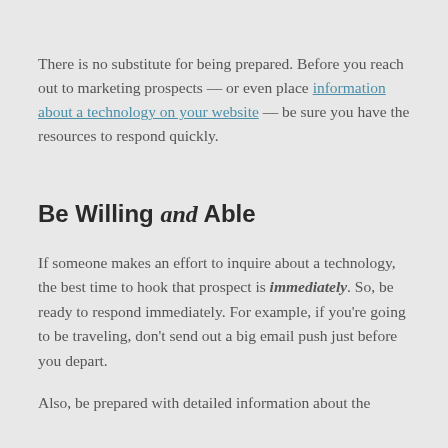There is no substitute for being prepared. Before you reach out to marketing prospects — or even place information about a technology on your website — be sure you have the resources to respond quickly.
Be Willing and Able
If someone makes an effort to inquire about a technology, the best time to hook that prospect is immediately. So, be ready to respond immediately. For example, if you're going to be traveling, don't send out a big email push just before you depart.
Also, be prepared with detailed information about the